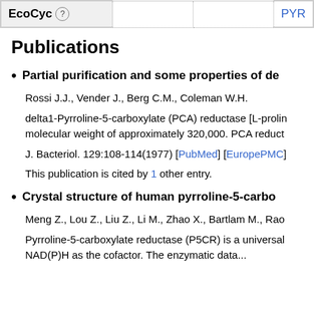| EcoCyc |  | PYR... |
| --- | --- | --- |
| EcoCyc (?) |  | PYR... |
Publications
Partial purification and some properties of de...
Rossi J.J., Vender J., Berg C.M., Coleman W.H.
delta1-Pyrroline-5-carboxylate (PCA) reductase [L-prolin... molecular weight of approximately 320,000. PCA reduct...
J. Bacteriol. 129:108-114(1977) [PubMed] [EuropePMC]
This publication is cited by 1 other entry.
Crystal structure of human pyrroline-5-carbo...
Meng Z., Lou Z., Liu Z., Li M., Zhao X., Bartlam M., Rao...
Pyrroline-5-carboxylate reductase (P5CR) is a universal... NAD(P)H as the cofactor. The enzymatic data...